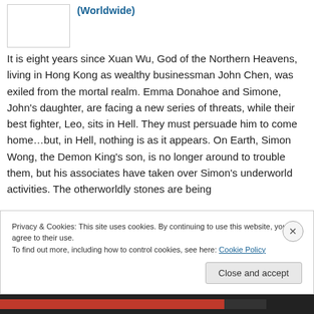[Figure (other): Book thumbnail placeholder image (white rectangle with border)]
(Worldwide)
It is eight years since Xuan Wu, God of the Northern Heavens, living in Hong Kong as wealthy businessman John Chen, was exiled from the mortal realm. Emma Donahoe and Simone, John’s daughter, are facing a new series of threats, while their best fighter, Leo, sits in Hell. They must persuade him to come home…but, in Hell, nothing is as it appears. On Earth, Simon Wong, the Demon King’s son, is no longer around to trouble them, but his associates have taken over Simon’s underworld activities. The otherworldly stones are being
Privacy & Cookies: This site uses cookies. By continuing to use this website, you agree to their use.
To find out more, including how to control cookies, see here: Cookie Policy
Close and accept